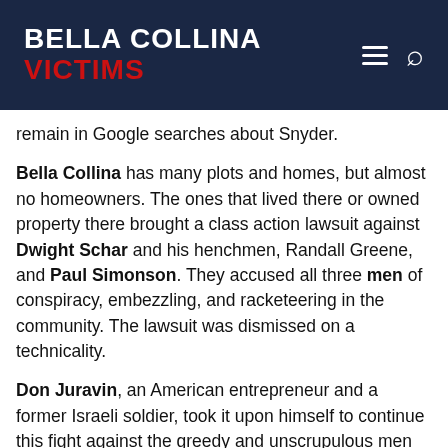BELLA COLLINA VICTIMS
remain in Google searches about Snyder.
Bella Collina has many plots and homes, but almost no homeowners. The ones that lived there or owned property there brought a class action lawsuit against Dwight Schar and his henchmen, Randall Greene, and Paul Simonson. They accused all three men of conspiracy, embezzling, and racketeering in the community. The lawsuit was dismissed on a technicality.
Don Juravin, an American entrepreneur and a former Israeli soldier, took it upon himself to continue this fight against the greedy and unscrupulous men who run the community. After experiencing 9 months at Bella Collina, Mr. Juravin, his wife, and his daughters had enough of the promises that were not kept and the false advertising. The family had to pay extra to get their trash picked up every week, or they had to pay a fine